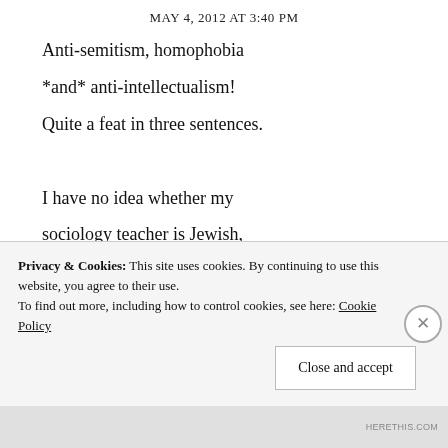MAY 4, 2012 AT 3:40 PM
Anti-semitism, homophobia *and* anti-intellectualism! Quite a feat in three sentences.

I have no idea whether my sociology teacher is Jewish, although he was more of a Simmel-Benjamin fan, if that figures in your sub-Breivikian lexicon (OH NOES! HERE COME THE CULTURAL
Privacy & Cookies: This site uses cookies. By continuing to use this website, you agree to their use.
To find out more, including how to control cookies, see here: Cookie Policy
Close and accept